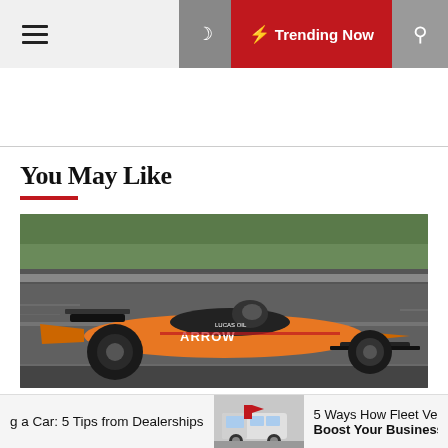☰ 🌙 ⚡ Trending Now 🔍
You May Like
[Figure (photo): An orange and black McLaren IndyCar racing on a track at speed, with green grass visible in the background. The car has ARROW and LUCAS OIL sponsorship logos.]
g a Car: 5 Tips from Dealerships
[Figure (photo): A van/fleet vehicle on a road]
5 Ways How Fleet Vehic Boost Your Business